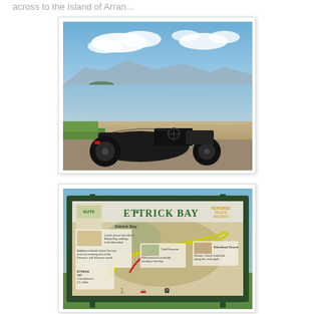across to the Island of Arran...
[Figure (photo): A black three-wheeled kit car parked on gravel near a beach, with the Island of Arran visible across the water in the background under a blue sky with clouds.]
[Figure (photo): An information board sign for Ettrick Bay on the Isle of Bute, showing a map of walking trails, information panels with text and photos, and the bay scenery.]